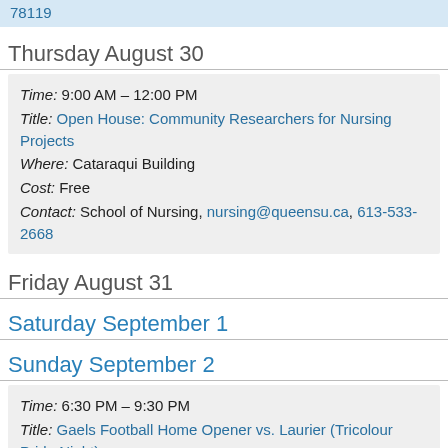78119
Thursday August 30
Time: 9:00 AM – 12:00 PM
Title: Open House: Community Researchers for Nursing Projects
Where: Cataraqui Building
Cost: Free
Contact: School of Nursing, nursing@queensu.ca, 613-533-2668
Friday August 31
Saturday September 1
Sunday September 2
Time: 6:30 PM – 9:30 PM
Title: Gaels Football Home Opener vs. Laurier (Tricolour Pride Night)